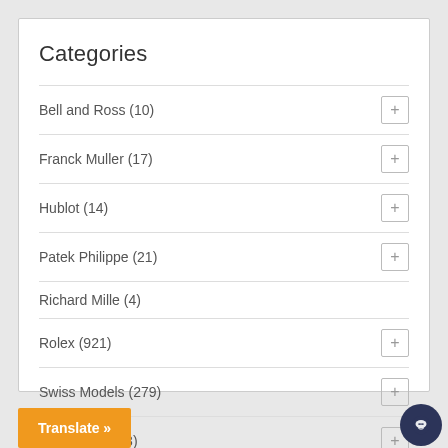Categories
Bell and Ross (10)
Franck Muller (17)
Hublot (14)
Patek Philippe (21)
Richard Mille (4)
Rolex (921)
Swiss Models (279)
TAG Heuer (73)
Translate »